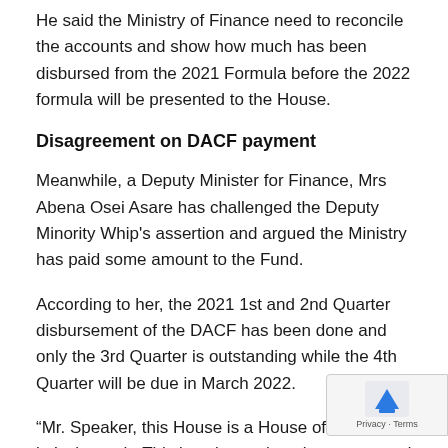He said the Ministry of Finance need to reconcile the accounts and show how much has been disbursed from the 2021 Formula before the 2022 formula will be presented to the House.
Disagreement on DACF payment
Meanwhile, a Deputy Minister for Finance, Mrs Abena Osei Asare has challenged the Deputy Minority Whip's assertion and argued the Ministry has paid some amount to the Fund.
According to her, the 2021 1st and 2nd Quarter disbursement of the DACF has been done and only the 3rd Quarter is outstanding while the 4th Quarter will be due in March 2022.
“Mr. Speaker, this House is a House of records so let’s the truth. This is unbecoming, they go around and say the truth. This is unbecoming, they go around and say
[Figure (other): Partially visible scroll-to-top UI widget with blue arrow icon and 'Privacy · Terms' text overlay in bottom-right corner]